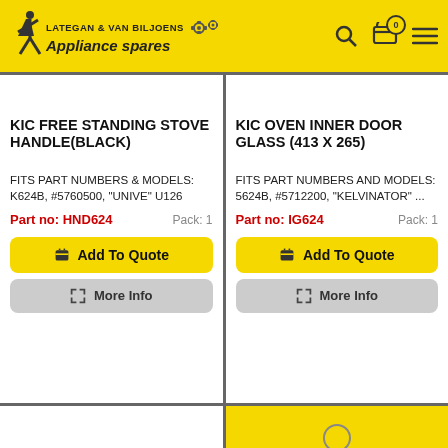Lategan & Van Biljoens Appliance Spares
KIC FREE STANDING STOVE HANDLE(BLACK)
FITS PART NUMBERS & MODELS: K624B, #5760500, "UNIVE" U126
Part no: HND624   Pack: 1
KIC OVEN INNER DOOR GLASS (413 X 265)
FITS PART NUMBERS AND MODELS: 5624B, #5712200, "KELVINATOR" ...
Part no: IG624   Pack: 1